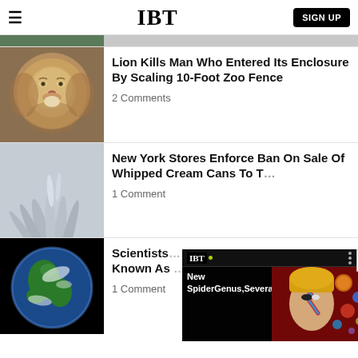IBT — SIGN UP
[Figure (screenshot): Partial top image strip showing people outdoors]
[Figure (photo): Close-up photo of a lion's face]
Lion Kills Man Who Entered Its Enclosure By Scaling 10-Foot Zoo Fence
2 Comments
[Figure (photo): Abstract silver/white sculptural hands or branches]
New York Stores Enforce Ban On Sale Of Whipped Cream Cans To T…
1 Comment
[Figure (photo): Photo of Earth from space against black background]
Scientists… Known As… [partially hidden by popup]
1 Comment
[Figure (screenshot): IBT popup overlay showing David Bowie-like face with text 'New SpiderGenus,Severa...' and planets in background]